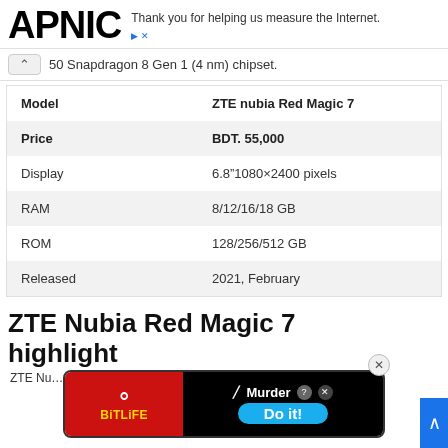APNIC — Thank you for helping us measure the Internet.
50 Snapdragon 8 Gen 1 (4 nm) chipset.
| Model | ZTE nubia Red Magic 7 |
| --- | --- |
| Price | BDT. 55,000 |
| Display | 6.8″1080×2400 pixels |
| RAM | 8/12/16/18 GB |
| ROM | 128/256/512 GB |
| Released | 2021, February |
ZTE Nubia Red Magic 7 highlight
ZTE Nu... ...uary
[Figure (screenshot): BitLife advertisement overlay with Murder/Do it! text and close button]